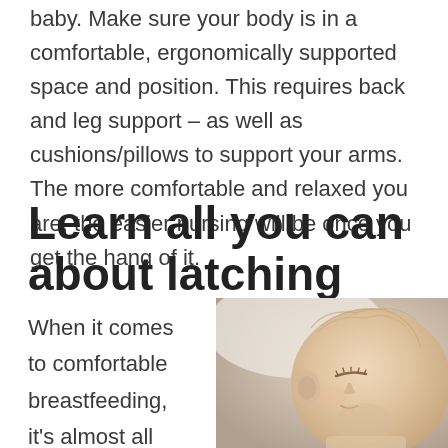baby. Make sure your body is in a comfortable, ergonomically supported space and position. This requires back and leg support – as well as cushions/pillows to support your arms. The more comfortable and relaxed you are, the easier nursing will be once you get the hang of it.
Learn all you can about latching
When it comes to comfortable breastfeeding, it's almost all
[Figure (photo): Close-up photo of a sleeping newborn baby's face and head]